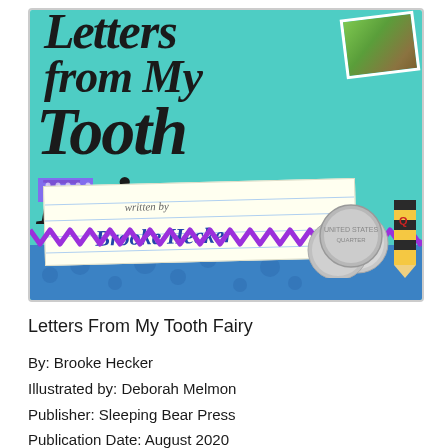[Figure (illustration): Book cover for 'Letters From My Tooth Fairy' by Brooke Hecker, illustrated by Deborah Melmon. Teal/mint green background with large black italic text reading 'from My Tooth Fairy'. A postcard illustration in the upper right corner. A lined paper author card in the middle-left area reads 'written by Brooke Hecker'. A purple zigzag/rick-rack border near the bottom. Blue area at the bottom with quarters/coins and a striped pencil on the right side.]
Letters From My Tooth Fairy
By: Brooke Hecker
Illustrated by: Deborah Melmon
Publisher: Sleeping Bear Press
Publication Date: August 2020